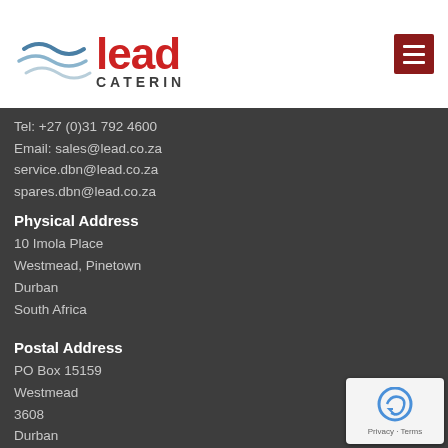[Figure (logo): Lead Catering logo with wave graphic and red LEAD text]
Tel: +27 (0)31 792 4600
Email: sales@lead.co.za
service.dbn@lead.co.za
spares.dbn@lead.co.za
Physical Address
10 Imola Place
Westmead, Pinetown
Durban
South Africa
Postal Address
PO Box 15159
Westmead
3608
Durban
South Africa